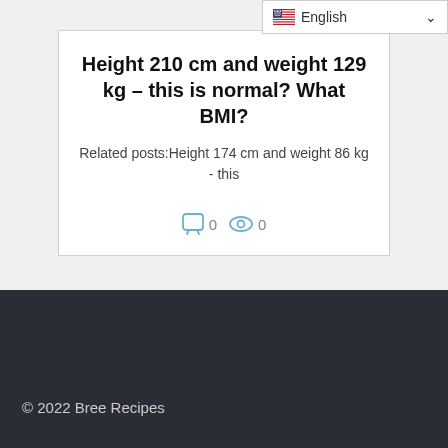Height 210 cm and weight 129 kg – this is normal? What BMI?
Related posts:Height 174 cm and weight 86 kg - this
© 2022 Bree Recipes